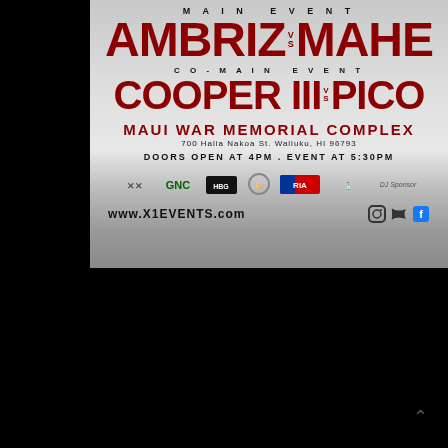[Figure (infographic): MMA event poster for X1 Events featuring Ambriz vs Mahe as main event and Cooper III vs Pico as co-main event at Maui War Memorial Complex]
MAIN EVENT
AMBRIZ VS MAHE
CO-MAIN EVENT
COOPER III VS PICO
MAUI WAR MEMORIAL COMPLEX
700 Halia Nakoa St. Wailuku, HI 96793
DOORS OPEN AT 4PM . EVENT AT 5:30PM
www.X1EVENTS.com